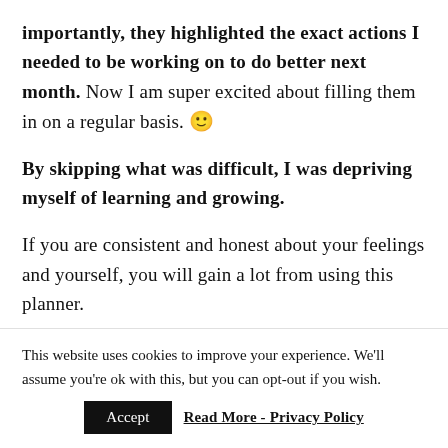importantly, they highlighted the exact actions I needed to be working on to do better next month. Now I am super excited about filling them in on a regular basis. 🙂
By skipping what was difficult, I was depriving myself of learning and growing.
If you are consistent and honest about your feelings and yourself, you will gain a lot from using this planner.
This website uses cookies to improve your experience. We'll assume you're ok with this, but you can opt-out if you wish.
Accept  Read More - Privacy Policy